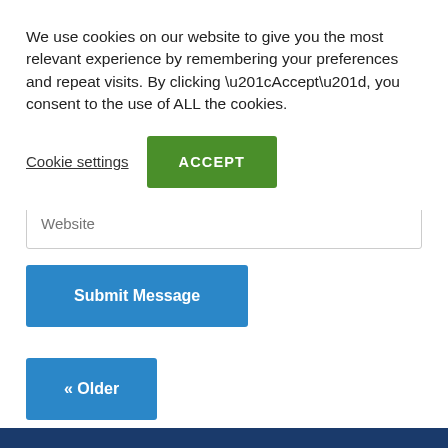We use cookies on our website to give you the most relevant experience by remembering your preferences and repeat visits. By clicking “Accept”, you consent to the use of ALL the cookies.
Cookie settings | ACCEPT
Website
Submit Message
« Older